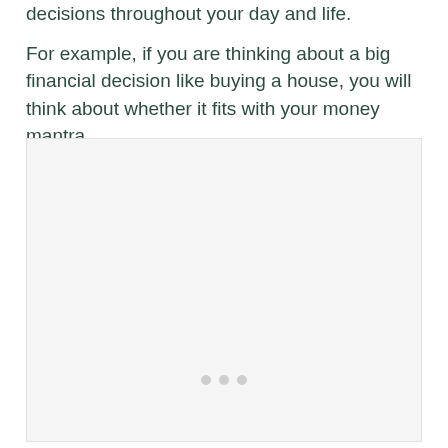decisions throughout your day and life.
For example, if you are thinking about a big financial decision like buying a house, you will think about whether it fits with your money mantra.
[Figure (illustration): A light gray placeholder box with three small dots near the bottom center, representing an image or interactive element area.]